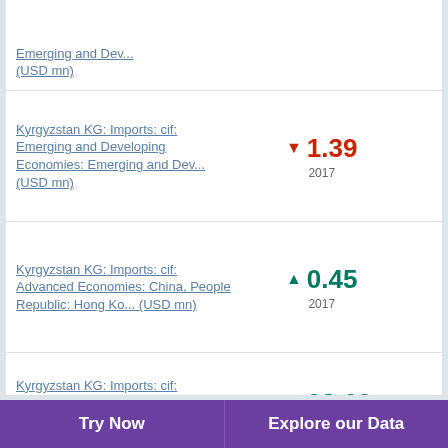Emerging and Dev... (USD mn)
Kyrgyzstan KG: Imports: cif: Emerging and Developing Economies: Emerging and Dev... (USD mn) ▼ 1.39 2017
Kyrgyzstan KG: Imports: cif: Advanced Economies: China, People Republic: Hong Ko... (USD mn) ▲ 0.45 2017
Kyrgyzstan KG: Imports: cif: Emerging and Developing Economies: ▲ 28.69
Try Now   Explore our Data